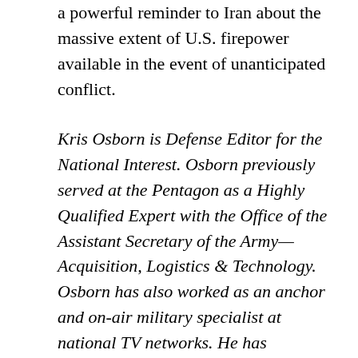a powerful reminder to Iran about the massive extent of U.S. firepower available in the event of unanticipated conflict.
Kris Osborn is Defense Editor for the National Interest. Osborn previously served at the Pentagon as a Highly Qualified Expert with the Office of the Assistant Secretary of the Army—Acquisition, Logistics & Technology. Osborn has also worked as an anchor and on-air military specialist at national TV networks. He has appeared as a guest military expert on Fox News, MSNBC, The Military Channel, and The History Channel. He also has a Masters Degree in Comparative Literature from Columbia University.